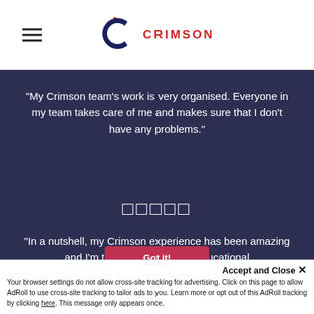[Figure (logo): Crimson Education logo with dark blue C and red star accents, CRIMSON text in red]
"My Crimson team's work is very organised. Everyone in my team takes care of me and makes sure that I don't have any problems."
□□□□□
"In a nutshell, my Crimson experience has been amazing and I'm truly grateful for the educational
This website uses cookies to ensure you get the best experience on our website.  Learn more
Accept and Close ✕
Your browser settings do not allow cross-site tracking for advertising. Click on this page to allow AdRoll to use cross-site tracking to tailor ads to you. Learn more or opt out of this AdRoll tracking by clicking here. This message only appears once.